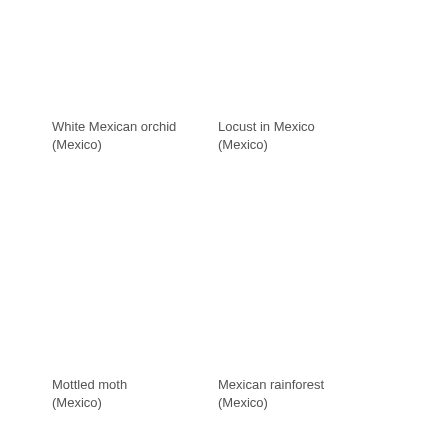White Mexican orchid
(Mexico)
Locust in Mexico
(Mexico)
Mottled moth
(Mexico)
Mexican rainforest
(Mexico)